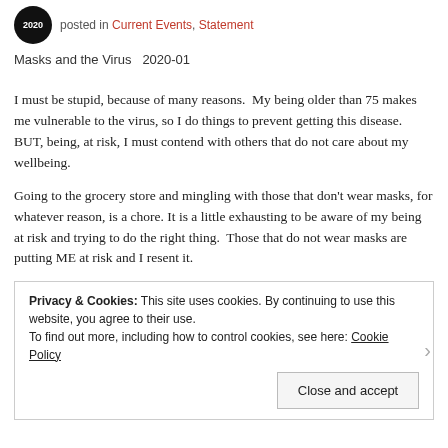posted in Current Events, Statement
Masks and the Virus  2020-01
I must be stupid, because of many reasons.  My being older than 75 makes me vulnerable to the virus, so I do things to prevent getting this disease. BUT, being, at risk, I must contend with others that do not care about my wellbeing.
Going to the grocery store and mingling with those that don't wear masks, for whatever reason, is a chore. It is a little exhausting to be aware of my being at risk and trying to do the right thing.  Those that do not wear masks are putting ME at risk and I resent it.
Privacy & Cookies: This site uses cookies. By continuing to use this website, you agree to their use.
To find out more, including how to control cookies, see here: Cookie Policy
Close and accept